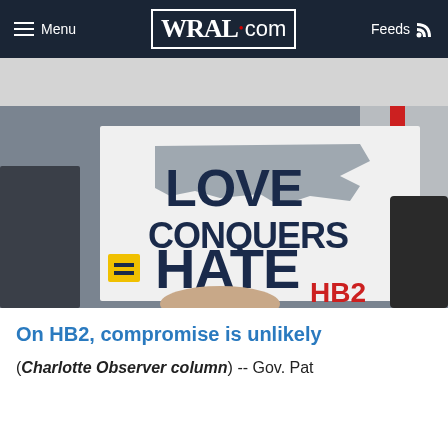Menu | WRAL.com | Feeds
[Figure (photo): Person holding a sign that reads 'LOVE CONQUERS HATE' with an equality symbol and 'HB2' text, against a backdrop with a North Carolina state outline in gray]
On HB2, compromise is unlikely
(Charlotte Observer column) -- Gov. Pat